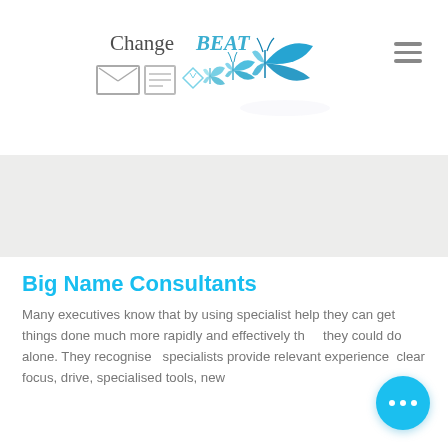[Figure (logo): ChangeBEAT logo with stylized text and butterfly transformation icons in blue tones]
[Figure (other): Hamburger menu icon (three horizontal lines) in gray]
[Figure (other): Gray hero banner area]
Big Name Consultants
Many executives know that by using specialist help they can get things done much more rapidly and effectively than they could do alone. They recognise that specialists provide relevant experience, clear focus, drive, specialised tools, new